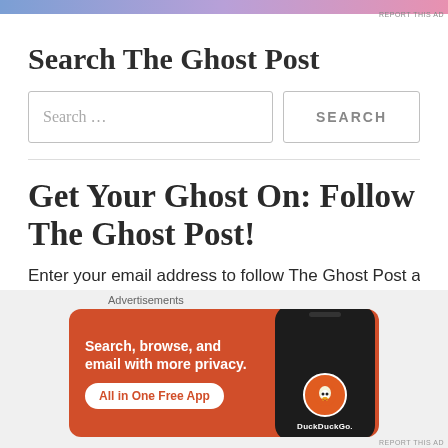[Figure (other): Top advertisement banner with gradient background (blue to pink), with 'REPORT THIS AD' text at right]
Search The Ghost Post
[Figure (other): Search bar with placeholder text 'Search ...' and a SEARCH button]
Get Your Ghost On: Follow The Ghost Post!
Enter your email address to follow The Ghost Post and
[Figure (other): DuckDuckGo advertisement: orange background with text 'Search, browse, and email with more privacy. All in One Free App' and phone mockup with DuckDuckGo logo]
Advertisements